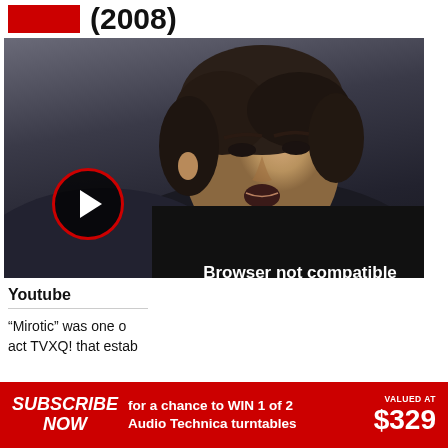(2008)
[Figure (screenshot): Video thumbnail showing a young Asian man with dark hair, with a red-bordered play button circle overlay at bottom-left. A dark 'Browser not compatible' overlay panel appears at bottom-right with the message: 'Browser not compatible / You may need to update your browser / Report ID: 1gbh1oqua5lmc4ijukn'. An X close button appears in the upper-right of the overlay.]
Youtube
“Mirotic” was one o... act TVXQ! that estab...
SUBSCRIBE NOW  for a chance to WIN 1 of 2 Audio Technica turntables  VALUED AT $329